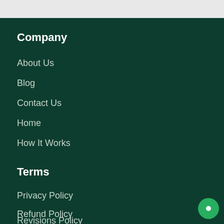Company
About Us
Blog
Contact Us
Home
How It Works
Terms
Privacy Policy
Refund Policy
Revisions Policy